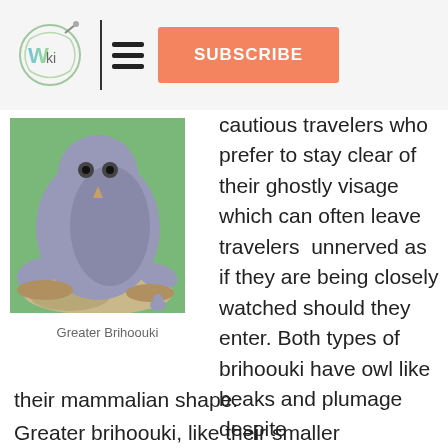Wiki | SUBSCRIBE
[Figure (illustration): Illustration of a Greater Brihoouki, a large grey mammal-like creature with owl features, crouching on a rock in a forest setting.]
Greater Brihoouki
cautious travelers who prefer to stay clear of their ghostly visage which can often leave travelers unnerved as if they are being closely watched should they enter. Both types of brihoouki have owl like beaks and plumage despite their mammalian shape.
Greater brihoouki, like their smaller counterparts, have a tail that rattles much like a rattlesnake, and is often the first and most obvious sign they are nearby to anyone or anything wandering through their home. This is interpreted by some